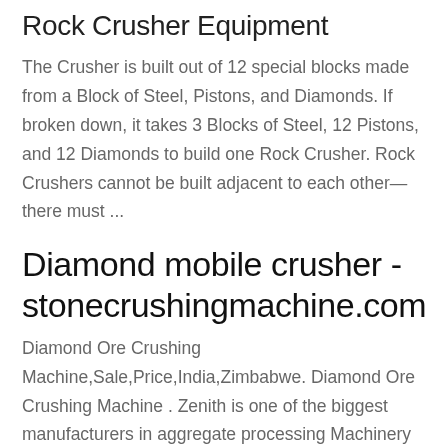Rock Crusher Equipment
The Crusher is built out of 12 special blocks made from a Block of Steel, Pistons, and Diamonds. If broken down, it takes 3 Blocks of Steel, 12 Pistons, and 12 Diamonds to build one Rock Crusher. Rock Crushers cannot be built adjacent to each other—there must ...
Diamond mobile crusher - stonecrushingmachine.com
Diamond Ore Crushing Machine,Sale,Price,India,Zimbabwe. Diamond Ore Crushing Machine . Zenith is one of the biggest manufacturers in aggregate processing Machinery for the sand,mining,construction and recycling ...